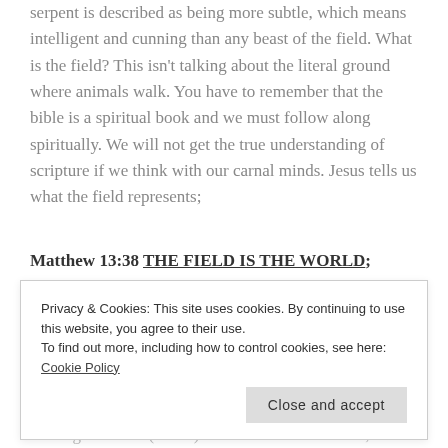serpent is described as being more subtle, which means intelligent and cunning than any beast of the field. What is the field? This isn't talking about the literal ground where animals walk. You have to remember that the bible is a spiritual book and we must follow along spiritually. We will not get the true understanding of scripture if we think with our carnal minds. Jesus tells us what the field represents;
Matthew 13:38 THE FIELD IS THE WORLD; Satan's domain is the world; Job 1:7 And the Lord said unto Satan, Where comest thou? Then Satan...
Privacy & Cookies: This site uses cookies. By continuing to use this website, you agree to their use. To find out more, including how to control cookies, see here: Cookie Policy
Close and accept
...coming the earth (world). This initiates the world...